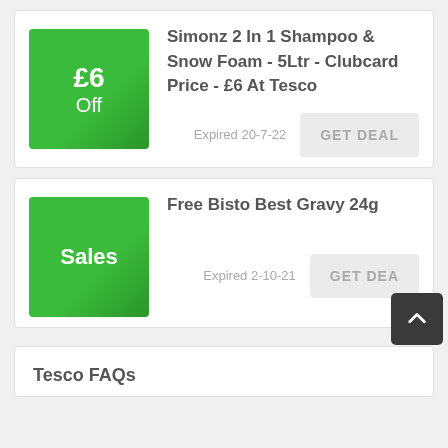[Figure (other): Green square badge showing £6 Off discount label]
Simonz 2 In 1 Shampoo & Snow Foam - 5Ltr - Clubcard Price - £6 At Tesco
Expired 20-7-22
[Figure (other): Green square badge showing Sales label]
Free Bisto Best Gravy 24g
Expired 2-10-21
Tesco FAQs